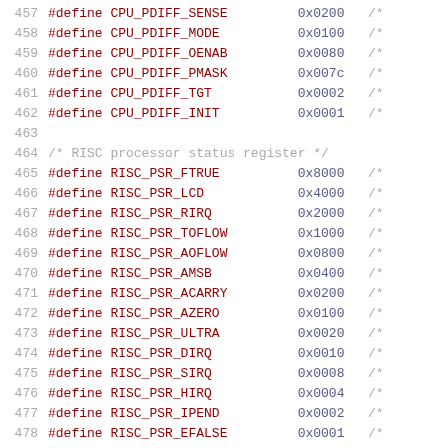457  #define CPU_PDIFF_SENSE   0x0200  /*
458  #define CPU_PDIFF_MODE    0x0100  /*
459  #define CPU_PDIFF_OENAB   0x0080  /*
460  #define CPU_PDIFF_PMASK   0x007c  /*
461  #define CPU_PDIFF_TGT     0x0002  /*
462  #define CPU_PDIFF_INIT    0x0001  /*
463
464  /* RISC processor status register */
465  #define RISC_PSR_FTRUE    0x8000  /*
466  #define RISC_PSR_LCD      0x4000  /*
467  #define RISC_PSR_RIRQ     0x2000  /*
468  #define RISC_PSR_TOFLOW   0x1000  /*
469  #define RISC_PSR_AOFLOW   0x0800  /*
470  #define RISC_PSR_AMSB     0x0400  /*
471  #define RISC_PSR_ACARRY   0x0200  /*
472  #define RISC_PSR_AZERO    0x0100  /*
473  #define RISC_PSR_ULTRA    0x0020  /*
474  #define RISC_PSR_DIRQ     0x0010  /*
475  #define RISC_PSR_SIRQ     0x0008  /*
476  #define RISC_PSR_HIRQ     0x0004  /*
477  #define RISC_PSR_IPEND    0x0002  /*
478  #define RISC_PSR_EFALSE   0x0001  /*